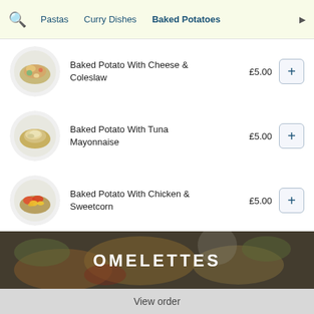🔍  Pastas  Curry Dishes  Baked Potatoes  ▶
Baked Potato With Cheese & Coleslaw  £5.00
Baked Potato With Tuna Mayonnaise  £5.00
Baked Potato With Chicken & Sweetcorn  £5.00
OMELETTES
View order